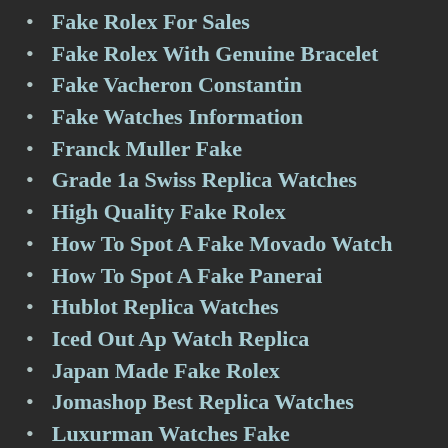Fake Rolex For Sales
Fake Rolex With Genuine Bracelet
Fake Vacheron Constantin
Fake Watches Information
Franck Muller Fake
Grade 1a Swiss Replica Watches
High Quality Fake Rolex
How To Spot A Fake Movado Watch
How To Spot A Fake Panerai
Hublot Replica Watches
Iced Out Ap Watch Replica
Japan Made Fake Rolex
Jomashop Best Replica Watches
Luxurman Watches Fake
Luxury Replicas Reviews
Mens Fake Diamond Watches